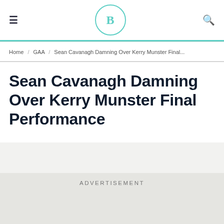≡  [B logo]  🔍
Home / GAA / Sean Cavanagh Damning Over Kerry Munster Final...
Sean Cavanagh Damning Over Kerry Munster Final Performance
ADVERTISEMENT